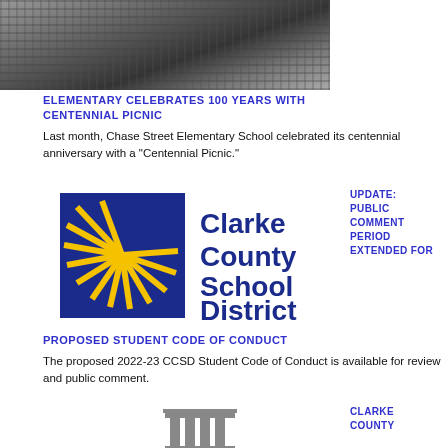[Figure (photo): Black and white photo of an old school building exterior]
ELEMENTARY CELEBRATES 100 YEARS WITH CENTENNIAL PICNIC
Last month, Chase Street Elementary School celebrated its centennial anniversary with a "Centennial Picnic."
[Figure (logo): Clarke County School District logo with gold sunburst on blue square and dark blue text]
UPDATE: PUBLIC COMMENT PERIOD EXTENDED FOR
PROPOSED STUDENT CODE OF CONDUCT
The proposed 2022-23 CCSD Student Code of Conduct is available for review and public comment.
[Figure (illustration): Grey columns/pillar icon illustration]
CLARKE COUNTY